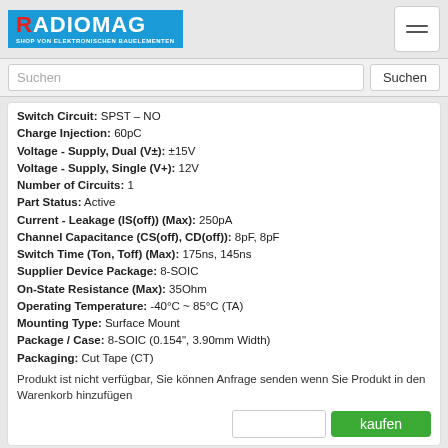RADIOMAG - SHOP VON ELEKTRONISCHEN BAUELEMENTEN
Suchen
Switch Circuit: SPST - NO
Charge Injection: 60pC
Voltage - Supply, Dual (V±): ±15V
Voltage - Supply, Single (V+): 12V
Number of Circuits: 1
Part Status: Active
Current - Leakage (IS(off)) (Max): 250pA
Channel Capacitance (CS(off), CD(off)): 8pF, 8pF
Switch Time (Ton, Toff) (Max): 175ns, 145ns
Supplier Device Package: 8-SOIC
On-State Resistance (Max): 35Ohm
Operating Temperature: -40°C ~ 85°C (TA)
Mounting Type: Surface Mount
Package / Case: 8-SOIC (0.154", 3.90mm Width)
Packaging: Cut Tape (CT)
Produkt ist nicht verfügbar, Sie können Anfrage senden wenn Sie Produkt in den Warenkorb hinzufügen
kaufen
SIHB22N60ET1-GE3